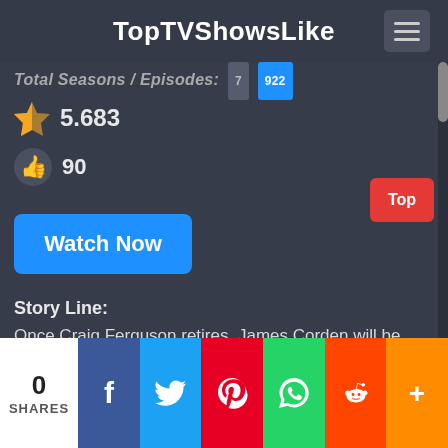TopTVShowsLike
Total Seasons / Episodes: 7 922
5.683
90
Watch Now
Story Line:
Once Craig Ferguson retires, James Corden will be taking over The Late Late Show. The show is a late night talk show that interviews celebrities and has its own bits. And of course, it's all hosted by James Corden.
Tags: .
0 SHARES